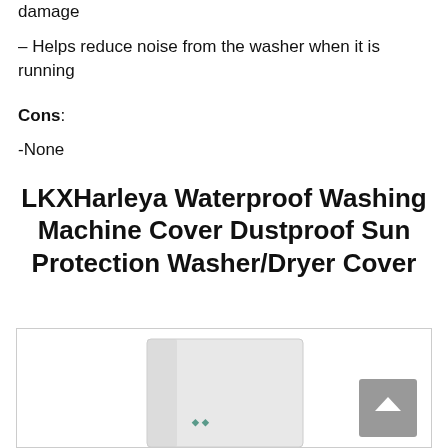damage
– Helps reduce noise from the washer when it is running
Cons:
-None
LKXHarleya Waterproof Washing Machine Cover Dustproof Sun Protection Washer/Dryer Cover
[Figure (photo): Photo of a white washing machine cover product, partially visible at the bottom of the page, with a scroll-to-top button overlay in the bottom right.]